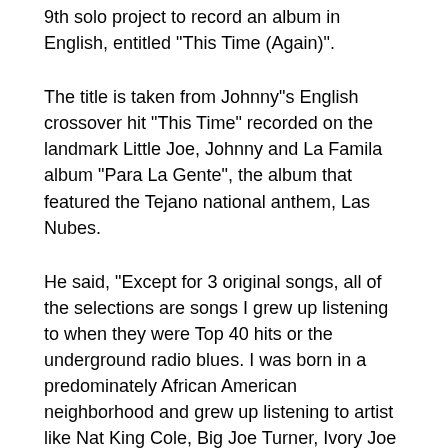9th solo project to record an album in English, entitled "This Time (Again)".
The title is taken from Johnny"s English crossover hit "This Time" recorded on the landmark Little Joe, Johnny and La Famila album "Para La Gente", the album that featured the Tejano national anthem, Las Nubes.
He said, "Except for 3 original songs, all of the selections are songs I grew up listening to when they were Top 40 hits or the underground radio blues. I was born in a predominately African American neighborhood and grew up listening to artist like Nat King Cole, Big Joe Turner, Ivory Joe Hunter, The Moon Glows, Chuck Willis, Jimmy Reed, and even the Ink Spots. The singers who have influenced me the most are, Sinatra, Tony Bennett, Stevie, Al Jarreau, Michael McDonald and, being from Texas -